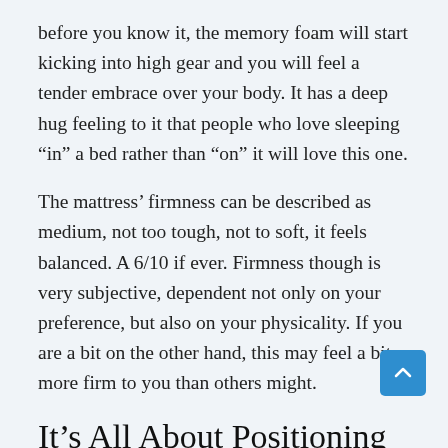before you know it, the memory foam will start kicking into high gear and you will feel a tender embrace over your body. It has a deep hug feeling to it that people who love sleeping “in” a bed rather than “on” it will love this one.
The mattress’ firmness can be described as medium, not too tough, not to soft, it feels balanced. A 6/10 if ever. Firmness though is very subjective, dependent not only on your preference, but also on your physicality. If you are a bit on the other hand, this may feel a bit more firm to you than others might.
It’s All About Positioning
So how does the Nectar mattress feel, depending on what position you sleep in.